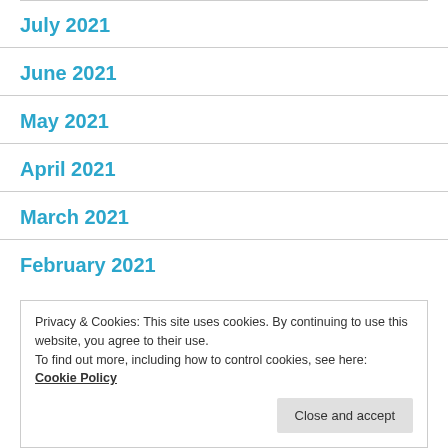July 2021
June 2021
May 2021
April 2021
March 2021
February 2021
Privacy & Cookies: This site uses cookies. By continuing to use this website, you agree to their use.
To find out more, including how to control cookies, see here:
Cookie Policy
Close and accept